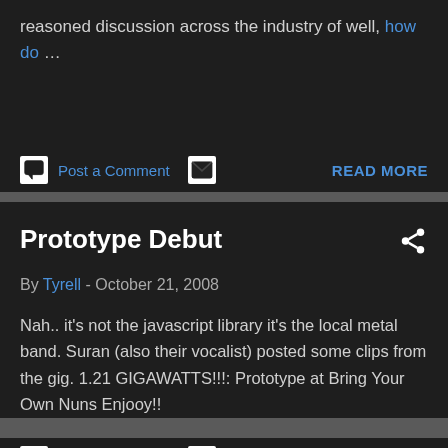reasoned discussion across the industry of well, how do ...
Post a Comment  READ MORE
Prototype Debut
By Tyrell - October 21, 2008
Nah.. it's not the javascript library it's the local metal band. Suran (also their vocalist) posted some clips from the gig. 1.21 GIGAWATTS!!!: Prototype at Bring Your Own Nuns Enjooy!!
Post a Comment  READ MORE